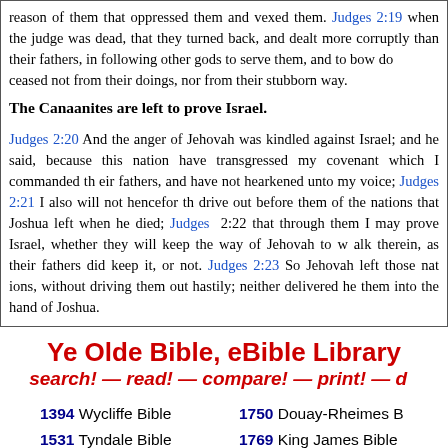reason of them that oppressed them and vexed them. Judges 2:19 when the judge was dead, that they turned back, and dealt more corruptly than their fathers, in following other gods to serve them, and to bow down unto them; they ceased not from their doings, nor from their stubborn way.
The Canaanites are left to prove Israel.
Judges 2:20 And the anger of Jehovah was kindled against Israel; and he said, Because this nation have transgressed my covenant which I commanded their fathers, and have not hearkened unto my voice; Judges 2:21 I also will not henceforth drive out before them of the nations that Joshua left when he died; Judges 2:22 that through them I may prove Israel, whether they will keep the way of Jehovah to walk therein, as their fathers did keep it, or not. Judges 2:23 So Jehovah left those nations, without driving them out hastily; neither delivered he them into the hand of Joshua.
Ye Olde Bible, eBible Library
search! — read! — compare! — print! — do
1394 Wycliffe Bible  1750 Douay-Rheimes Bible
1531 Tyndale Bible  1769 King James Bible
1535 Coverdale Bible  1833 Webster Bible
1537 Matthew Bible  1885 English Revised Version